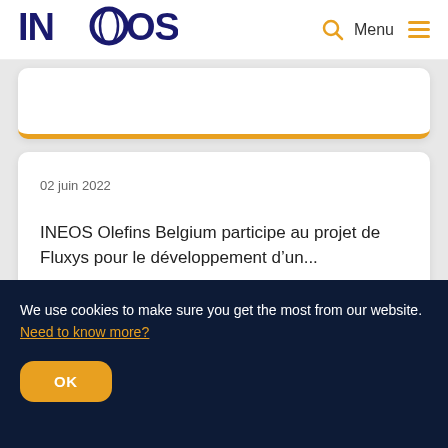INEOS  Menu
02 juin 2022
INEOS Olefins Belgium participe au projet de Fluxys pour le développement d'un...
We use cookies to make sure you get the most from our website. Need to know more?
OK